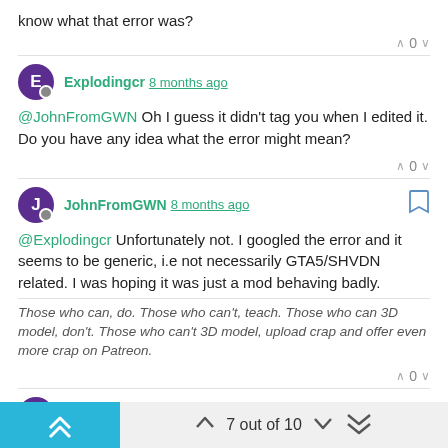know what that error was?
∧ 0 ∨
Explodingcr 8 months ago
@JohnFromGWN Oh I guess it didn't tag you when I edited it. Do you have any idea what the error might mean?
∧ 0 ∨
JohnFromGWN 8 months ago
@Explodingcr Unfortunately not. I googled the error and it seems to be generic, i.e not necessarily GTA5/SHVDN related. I was hoping it was just a mod behaving badly.
Those who can, do. Those who can't, teach. Those who can 3D model, don't. Those who can't 3D model, upload crap and offer even more crap on Patreon.
∧ 0 ∨
Explodingcr 8 months ago
∧∧  ∧  7 out of 10  ∨  ∨∨